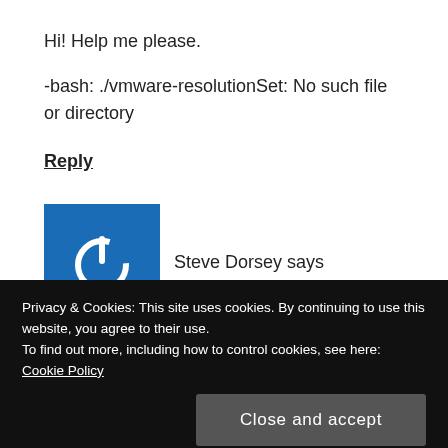Hi! Help me please.
-bash: ./vmware-resolutionSet: No such file or directory
Reply
[Figure (illustration): Blue square avatar icon with a white power button symbol]
Steve Dorsey says
04/13/2016 at 7:23 pm
Privacy & Cookies: This site uses cookies. By continuing to use this website, you agree to their use.
To find out more, including how to control cookies, see here: Cookie Policy
Close and accept